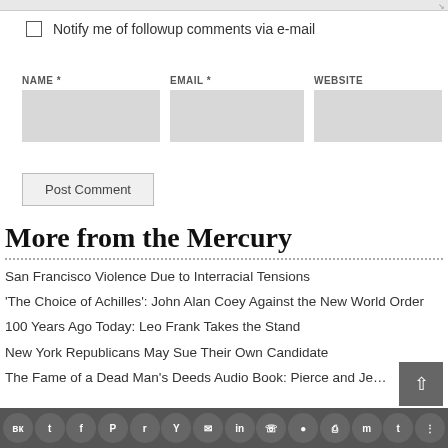Notify me of followup comments via e-mail
NAME *
EMAIL *
WEBSITE
Post Comment
More from the Mercury
San Francisco Violence Due to Interracial Tensions
‘The Choice of Achilles’: John Alan Coey Against the New World Order
100 Years Ago Today: Leo Frank Takes the Stand
New York Republicans May Sue Their Own Candidate
The Fame of a Dead Man’s Deeds Audio Book: Pierce and Je…